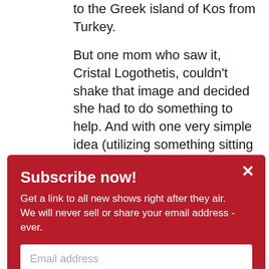to the Greek island of Kos from Turkey.

But one mom who saw it, Cristal Logothetis, couldn't shake that image and decided she had to do something to help. And with one very simple idea (utilizing something sitting unused in her garage), and a couple of posts on social media, within days
Subscribe now!
Get a link to all new shows right after they air.
We will never sell or share your email address - ever.
[Email address input]
Submit